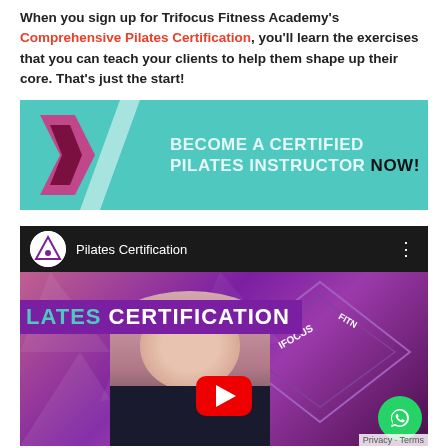When you sign up for Trifocus Fitness Academy's Comprehensive Pilates Certification, you'll learn the exercises that you can teach your clients to help them shape up their core. That's just the start!
[Figure (photo): Trifocus Fitness Academy banner: teal/turquoise background with logo chevron on left, text 'BECOME A CERTIFIED PILATES INSTRUCTOR NOW!' in white and black bold letters]
[Figure (screenshot): YouTube embedded video player showing 'Pilates Certification' video from Trifocus Fitness Academy. Thumbnail shows a woman in front of a purple geometric background with 'PILATES CERTIFICATION' text and Trifocus logo. Red YouTube play button in center. WhatsApp icon bottom right. Privacy · Terms text bottom right.]